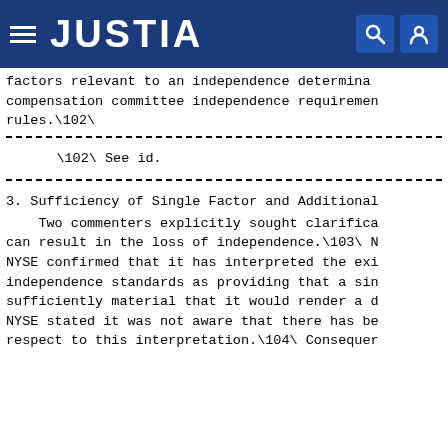JUSTIA
factors relevant to an independence determination, compensation committee independence requirements rules.\102\
\102\ See id.
3. Sufficiency of Single Factor and Additional
Two commenters explicitly sought clarification can result in the loss of independence.\103\ NYSE confirmed that it has interpreted the existing independence standards as providing that a single sufficiently material that it would render a director NYSE stated it was not aware that there has been respect to this interpretation.\104\ Consequently,